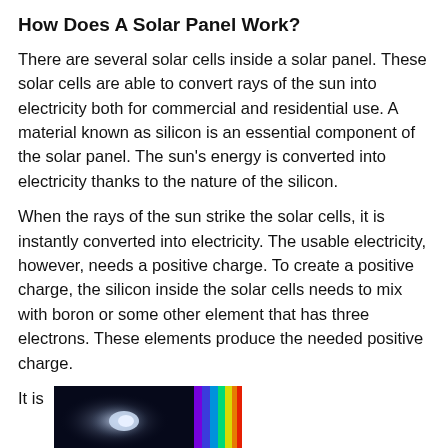How Does A Solar Panel Work?
There are several solar cells inside a solar panel. These solar cells are able to convert rays of the sun into electricity both for commercial and residential use. A material known as silicon is an essential component of the solar panel. The sun's energy is converted into electricity thanks to the nature of the silicon.
When the rays of the sun strike the solar cells, it is instantly converted into electricity. The usable electricity, however, needs a positive charge. To create a positive charge, the silicon inside the solar cells needs to mix with boron or some other element that has three electrons. These elements produce the needed positive charge.
It is
[Figure (photo): Photo of a solar panel or light spectrum, dark background with bright light and colorful spectrum on the right edge]